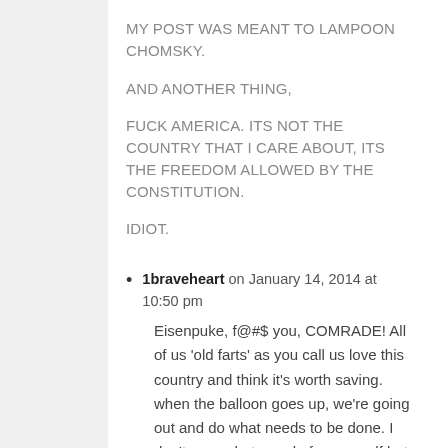MY POST WAS MEANT TO LAMPOON CHOMSKY.
AND ANOTHER THING,
FUCK AMERICA. ITS NOT THE COUNTRY THAT I CARE ABOUT, ITS THE FREEDOM ALLOWED BY THE CONSTITUTION.
IDIOT.
1braveheart on January 14, 2014 at 10:50 pm
Eisenpuke, f@#$ you, COMRADE! All of us ‘old farts’ as you call us love this country and think it’s worth saving. when the balloon goes up, we’re going out and do what needs to be done. I don’t care what you do for yourself but in the ballast of